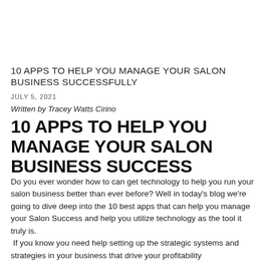10 APPS TO HELP YOU MANAGE YOUR SALON BUSINESS SUCCESSFULLY
JULY 5, 2021
Written by Tracey Watts Cirino
10 APPS TO HELP YOU MANAGE YOUR SALON BUSINESS SUCCESS
Do you ever wonder how to can get technology to help you run your salon business better than ever before? Well in today's blog we're going to dive deep into the 10 best apps that can help you manage your Salon Success and help you utilize technology as the tool it truly is. If you know you need help setting up the strategic systems and strategies in your business that drive your profitability